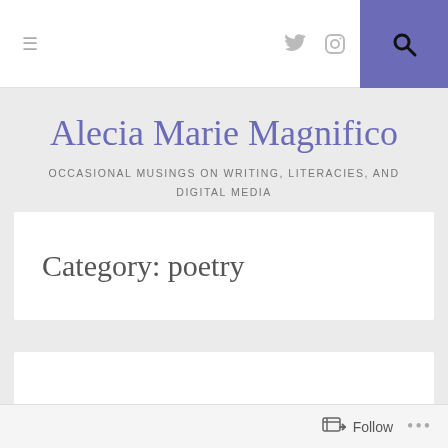≡  [twitter icon]  [instagram icon]  [search icon]
Alecia Marie Magnifico
OCCASIONAL MUSINGS ON WRITING, LITERACIES, AND DIGITAL MEDIA
Category: poetry
#walkmyworld: Mirrors and Reflections
Follow  ...